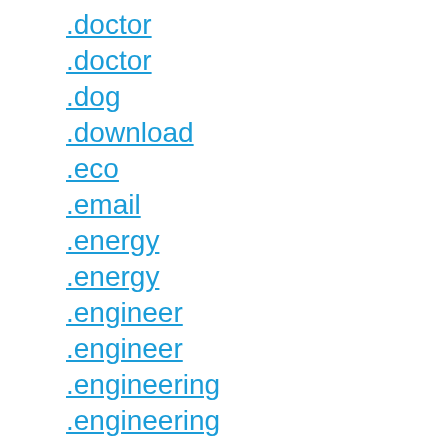.doctor
.doctor
.dog
.download
.eco
.email
.energy
.energy
.engineer
.engineer
.engineering
.engineering
.esq
.events
.exchange
.expert
.expert
.express